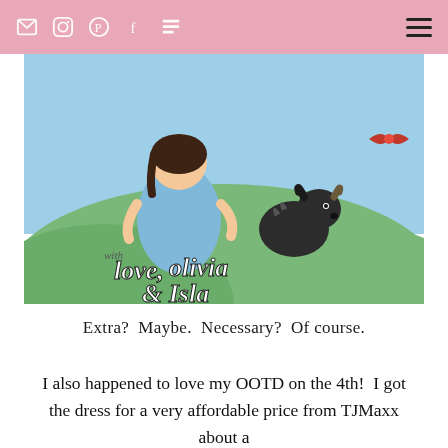Navigation bar with social icons and hamburger menu
[Figure (illustration): Watercolor illustration of a girl in a blue dress and red bow with a dog, text reading 'with love, olivia & isla']
Extra? Maybe. Necessary? Of course.
I also happened to love my OOTD on the 4th! I got the dress for a very affordable price from TJMaxx about a month before the trip, fully well that it would look and